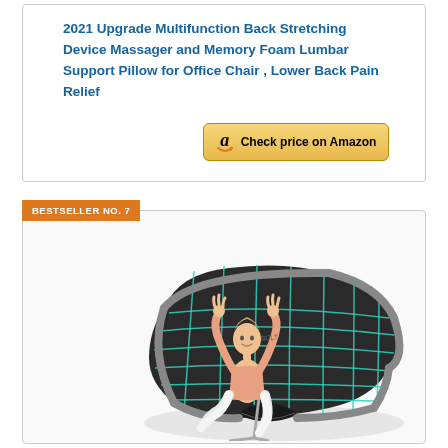2021 Upgrade Multifunction Back Stretching Device Massager and Memory Foam Lumbar Support Pillow for Office Chair , Lower Back Pain Relief
[Figure (other): Amazon 'Check price on Amazon' button with Amazon logo]
BESTSELLER NO. 7
[Figure (photo): Product photo showing a black and teal grid-patterned seat cushion/back support pillow with a woman sitting on an office chair stretching her arms upward]